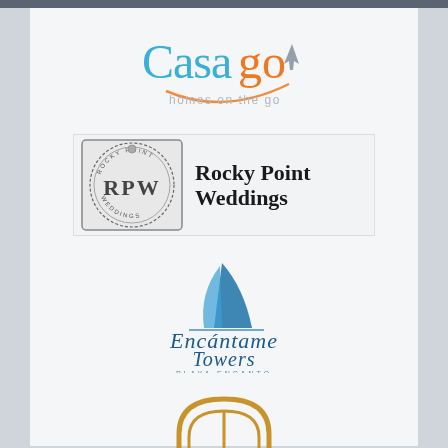[Figure (logo): Casago 'homes on the go' logo with blue and orange text and circular swoosh]
[Figure (logo): Rocky Point Weddings logo with ornate RPW monogram badge and text]
[Figure (logo): Encantame Towers Playa Encanto logo with blue sailboat sail graphic and script text]
[Figure (logo): Golden arched door/gate logo with intertwined PP monogram]